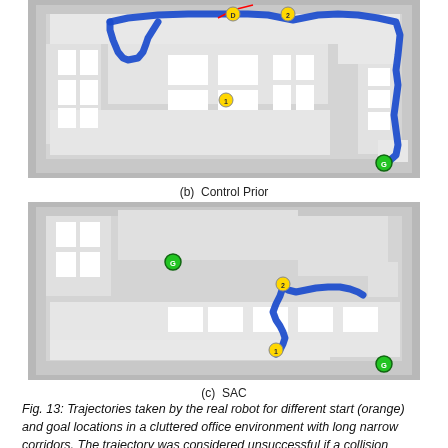[Figure (map): Top map showing robot trajectory (blue path) through a cluttered office floor plan for Control Prior condition. Yellow numbered waypoints (1, 2, D) and green goal marker (G) visible. Path traverses upper corridor and descends to lower right.]
(b)  Control Prior
[Figure (map): Bottom map showing robot trajectory (blue path) through a cluttered office floor plan for SAC condition. Yellow numbered waypoints (1, 2) and green goal markers (G) visible. Path is shorter, winding through central corridor area.]
(c)  SAC
Fig. 13: Trajectories taken by the real robot for different start (orange) and goal locations in a cluttered office environment with long narrow corridors. The trajectory was considered unsuccessful if a collision occurred. The trajectory taken by